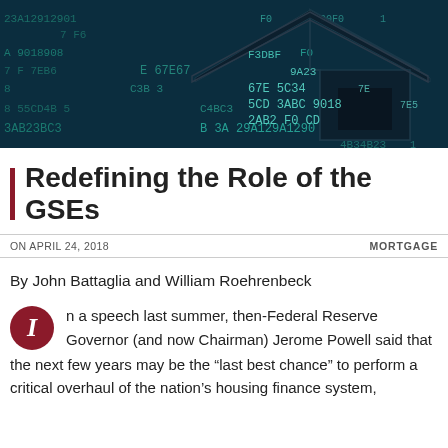[Figure (photo): Dark teal/navy background with hexadecimal code characters and a house silhouette outline in the upper right, representing data and housing finance]
Redefining the Role of the GSEs
ON APRIL 24, 2018    MORTGAGE
By John Battaglia and William Roehrenbeck
In a speech last summer, then-Federal Reserve Governor (and now Chairman) Jerome Powell said that the next few years may be the “last best chance” to perform a critical overhaul of the nation’s housing finance system,